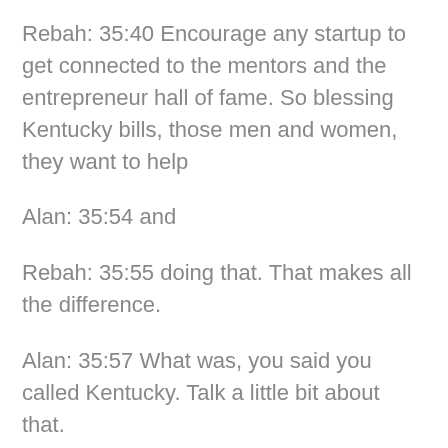Rebah: 35:40 Encourage any startup to get connected to the mentors and the entrepreneur hall of fame. So blessing Kentucky bills, those men and women, they want to help
Alan: 35:54 and
Rebah: 35:55 doing that. That makes all the difference.
Alan: 35:57 What was, you said you called Kentucky. Talk a little bit about that.
Rebah: 36:03 So, um, you know, just like